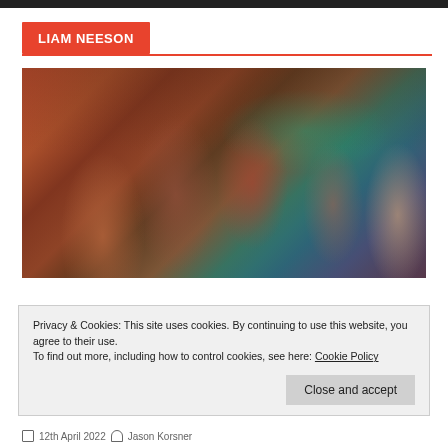LIAM NEESON
[Figure (photo): Group of young people in a dimly lit venue with colourful lights; multiple characters from what appears to be a TV show or film still]
Privacy & Cookies: This site uses cookies. By continuing to use this website, you agree to their use.
To find out more, including how to control cookies, see here: Cookie Policy
Close and accept
12th April 2022  Jason Korsner